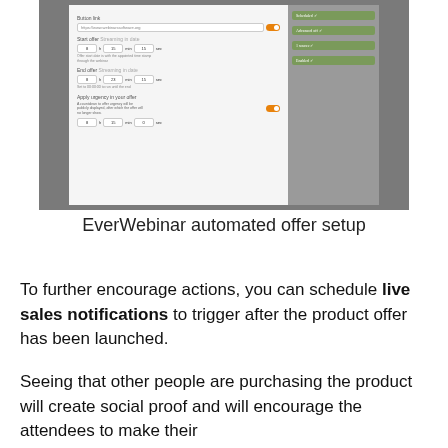[Figure (screenshot): Screenshot of EverWebinar automated offer setup interface showing Button link field, Start offer and End offer time settings with hour/minute/second inputs, Apply urgency in your offer toggle (enabled), and a sidebar with green status items.]
EverWebinar automated offer setup
To further encourage actions, you can schedule live sales notifications to trigger after the product offer has been launched.
Seeing that other people are purchasing the product will create social proof and will encourage the attendees to make their